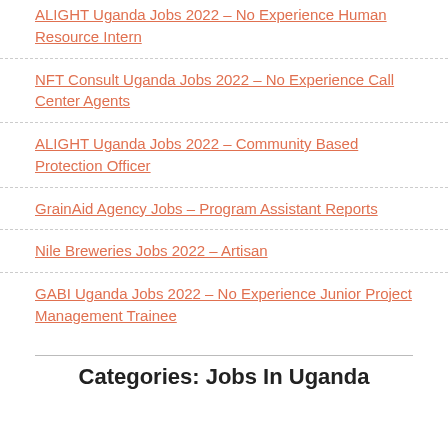ALIGHT Uganda Jobs 2022 – No Experience Human Resource Intern
NFT Consult Uganda Jobs 2022 – No Experience Call Center Agents
ALIGHT Uganda Jobs 2022 – Community Based Protection Officer
GrainAid Agency Jobs – Program Assistant Reports
Nile Breweries Jobs 2022 – Artisan
GABI Uganda Jobs 2022 – No Experience Junior Project Management Trainee
Categories: Jobs In Uganda